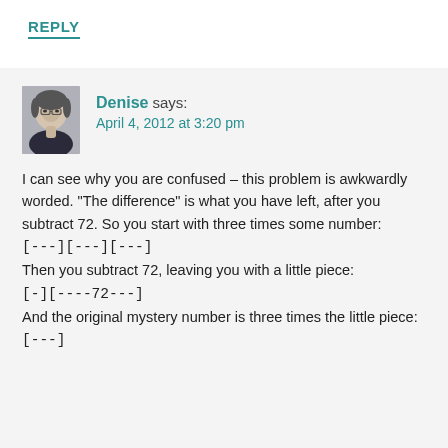REPLY
[Figure (photo): Avatar photo of Denise, a woman with short hair and glasses]
Denise says:
April 4, 2012 at 3:20 pm
I can see why you are confused – this problem is awkwardly worded. "The difference" is what you have left, after you subtract 72. So you start with three times some number:
[---][---][---]
Then you subtract 72, leaving you with a little piece:
[-][----72---]
And the original mystery number is three times the little piece:
[---]